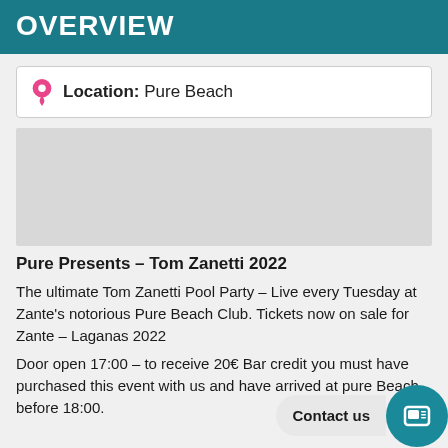OVERVIEW
Location: Pure Beach
[Figure (map): Map showing Pure Beach location]
Pure Presents – Tom Zanetti 2022
The ultimate Tom Zanetti Pool Party – Live every Tuesday at Zante's notorious Pure Beach Club. Tickets now on sale for Zante – Laganas 2022
Door open 17:00 – to receive 20€ Bar credit you must have purchased this event with us and have arrived at pure Beach before 18:00.
VIP AREA Upgrade only available when purchased